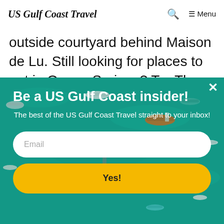US Gulf Coast Travel  🔍  ☰ Menu
outside courtyard behind Maison de Lu. Still looking for places to eat in Ocean Springs? Try The Shed for BBQ, Charred
[Figure (photo): Aerial view of boats on teal/turquoise water with a popup modal overlay. The modal says 'Be a US Gulf Coast insider!' with subtitle 'The best of the US Gulf Coast Travel straight to your inbox!' and has an Email input field and a yellow 'Yes!' button. A white × close button appears in the top right of the modal.]
Be a US Gulf Coast insider!
The best of the US Gulf Coast Travel straight to your inbox!